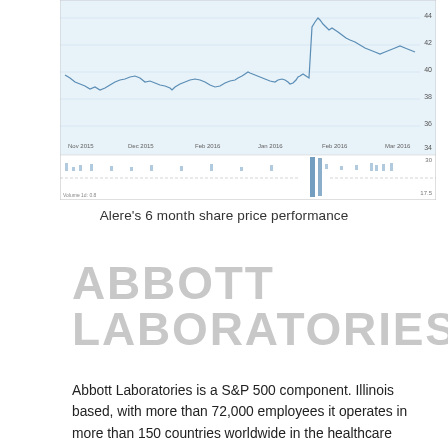[Figure (continuous-plot): Alere 6 month share price performance chart showing price line chart with volume bars below. Price ranges approximately 35-44, with a sharp spike upward near the end. Volume shown in lower panel with a large spike near the price spike.]
Alere's 6 month share price performance
ABBOTT LABORATORIES
Abbott Laboratories is a S&P 500 component. Illinois based, with more than 72,000 employees it operates in more than 150 countries worldwide in the healthcare sector. With a market cap of $62.58bn and an enterprise value of $65.46bn is one of the largest U.S. healthcare companies. In 2015, it had revenues for $20.405bn of which 70% are generated